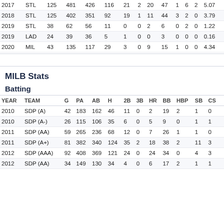| YEAR | TEAM | G | PA | AB | H | 2B | 3B | HR | BB | HBP | SB | CS |  |
| --- | --- | --- | --- | --- | --- | --- | --- | --- | --- | --- | --- | --- | --- |
| 2017 | STL | 125 | 481 | 426 | 116 | 21 | 2 | 20 | 47 | 1 | 6 | 2 | 5.07 |
| 2018 | STL | 125 | 402 | 351 | 92 | 19 | 1 | 11 | 44 | 3 | 2 | 0 | 3.79 |
| 2019 | STL | 38 | 62 | 56 | 11 | 0 | 0 | 2 | 6 | 0 | 2 | 0 | 1.22 |
| 2019 | LAD | 24 | 39 | 36 | 5 | 1 | 0 | 0 | 3 | 0 | 0 | 0 | 0.16 |
| 2020 | MIL | 43 | 135 | 117 | 29 | 3 | 0 | 9 | 15 | 1 | 0 | 0 | 4.34 |
MILB Stats
Batting
| YEAR | TEAM | G | PA | AB | H | 2B | 3B | HR | BB | HBP | SB | CS |  |
| --- | --- | --- | --- | --- | --- | --- | --- | --- | --- | --- | --- | --- | --- |
| 2010 | SDP (A) | 42 | 183 | 162 | 46 | 11 | 0 | 2 | 19 | 2 | 1 | 0 |  |
| 2010 | SDP (A-) | 26 | 115 | 106 | 35 | 6 | 0 | 5 | 9 | 0 | 1 | 1 |  |
| 2011 | SDP (AA) | 59 | 265 | 236 | 68 | 12 | 0 | 7 | 26 | 1 | 1 | 0 |  |
| 2011 | SDP (A+) | 81 | 382 | 340 | 124 | 35 | 2 | 18 | 38 | 2 | 11 | 3 |  |
| 2012 | SDP (AAA) | 92 | 408 | 369 | 121 | 24 | 0 | 24 | 34 | 0 | 4 | 3 |  |
| 2012 | SDP (AA) | 34 | 149 | 130 | 34 | 4 | 0 | 6 | 17 | 2 | 1 | 1 |  |